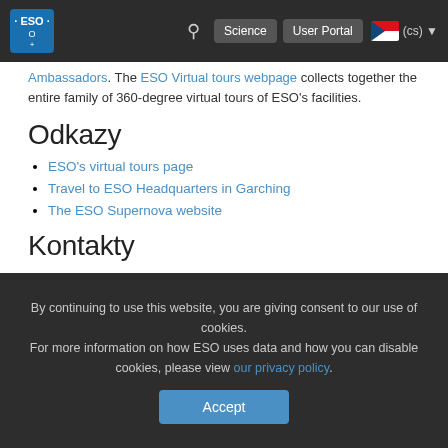ESO navigation bar with logo, search, Science, User Portal, Czech language selector
Ambassadors. The ESO Virtual tours webpage collects together the entire family of 360-degree virtual tours of ESO's facilities.
Odkazy
ESO's virtual tours page
Travel to ESO Headquarters in Garching
The ESO Supernova website
Kontakty
Richard Hook
ESO Public Information Officer
Garching bei München, Germany
Tel: +49 89 3200 6655
Cell: +49 151 1537 3591
By continuing to use this website, you are giving consent to our use of cookies.
For more information on how ESO uses data and how you can disable cookies, please view our privacy policy.